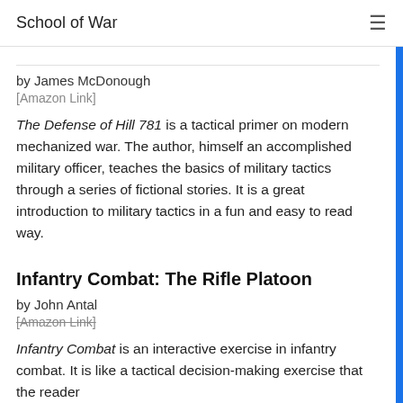School of War
by James McDonough
[Amazon Link]
The Defense of Hill 781 is a tactical primer on modern mechanized war. The author, himself an accomplished military officer, teaches the basics of military tactics through a series of fictional stories. It is a great introduction to military tactics in a fun and easy to read way.
Infantry Combat: The Rifle Platoon
by John Antal
[Amazon Link]
Infantry Combat is an interactive exercise in infantry combat. It is like a tactical decision-making exercise that the reader...